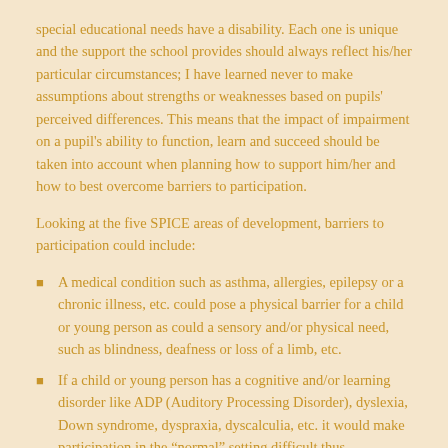special educational needs have a disability. Each one is unique and the support the school provides should always reflect his/her particular circumstances; I have learned never to make assumptions about strengths or weaknesses based on pupils' perceived differences. This means that the impact of impairment on a pupil's ability to function, learn and succeed should be taken into account when planning how to support him/her and how to best overcome barriers to participation.
Looking at the five SPICE areas of development, barriers to participation could include:
A medical condition such as asthma, allergies, epilepsy or a chronic illness, etc. could pose a physical barrier for a child or young person as could a sensory and/or physical need, such as blindness, deafness or loss of a limb, etc.
If a child or young person has a cognitive and/or learning disorder like ADP (Auditory Processing Disorder), dyslexia, Down syndrome, dyspraxia, dyscalculia, etc. it would make participation in the "normal" setting difficult thus